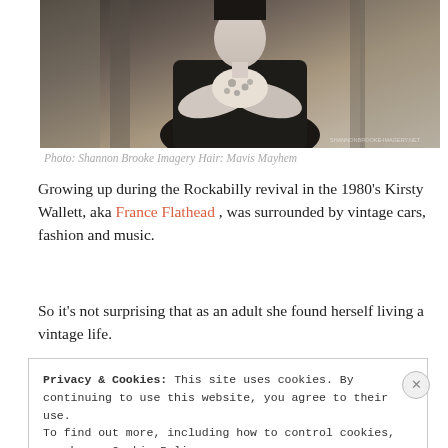[Figure (photo): Black and white photograph of a woman with arms crossed, wearing a leather jacket and leopard print top, urban background.]
Photo: Shannon Brooke Imagery Hair: Mavis Mayhem
Growing up during the Rockabilly revival in the 1980's Kirsty Wallett, aka France Flathead , was surrounded by vintage cars, fashion and music.
So it's not surprising that as an adult she found herself living a vintage life.
Privacy & Cookies: This site uses cookies. By continuing to use this website, you agree to their use.
To find out more, including how to control cookies, see here: Cookie Policy
Close and accept